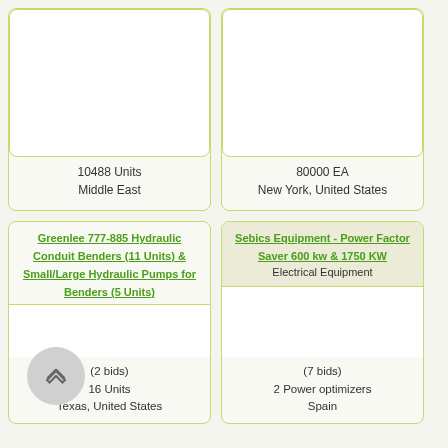10488 Units
Middle East
80000 EA
New York, United States
Greenlee 777-885 Hydraulic Conduit Benders (11 Units) & Small/Large Hydraulic Pumps for Benders (5 Units)
(2 bids)
16 Units
Texas, United States
Sebics Equipment - Power Factor Saver 600 kw & 1750 KW
Electrical Equipment
(7 bids)
2 Power optimizers
Spain